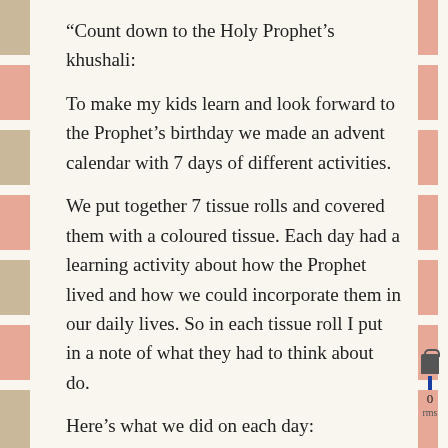“Count down to the Holy Prophet’s khushali:
To make my kids learn and look forward to the Prophet’s birthday we made an advent calendar with 7 days of different activities.
We put together 7 tissue rolls and covered them with a coloured tissue. Each day had a learning activity about how the Prophet lived and how we could incorporate them in our daily lives. So in each tissue roll I put in a note of what they had to think about do.
Here’s what we did on each day:
1. We talked about the story of the Prophet and the sour grapes. How the poor man had brought the Prophet grapes and the Prophet ate them all himself